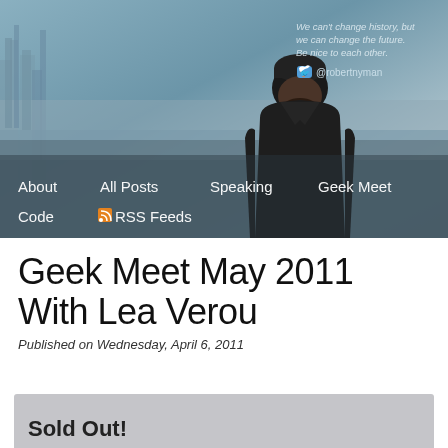[Figure (photo): Website header/hero image showing a man in a dark beanie hat against a cityscape background (appears to be Barcelona), with a quote and Twitter handle overlay, and navigation links at the bottom]
We can't change history, but we can change the future. Be nice to each other.
@robertnyman
About  All Posts  Speaking  Geek Meet  Code  RSS Feeds
Geek Meet May 2011 With Lea Verou
Published on Wednesday, April 6, 2011
Sold Out!